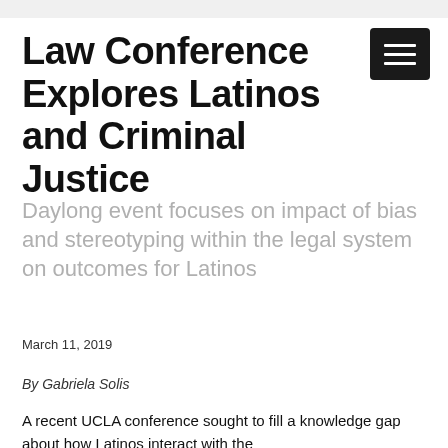Law Conference Explores Latinos and Criminal Justice
Daylong event focuses on impact of bias and stereotyping within the legal system on outcomes for Latinos
March 11, 2019
By Gabriela Solis
A recent UCLA conference sought to fill a knowledge gap about how Latinos interact with the